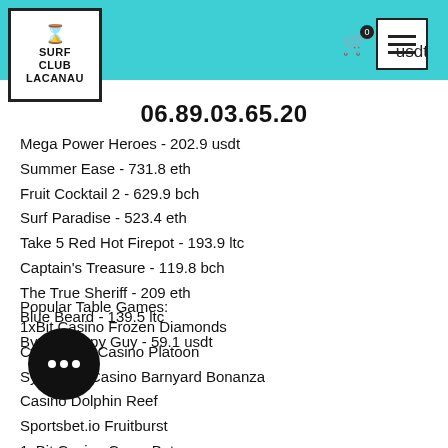Surf Club Lacanau
06.89.03.65.20
Mega Power Heroes - 202.9 usdt
Summer Ease - 731.8 eth
Fruit Cocktail 2 - 629.9 bch
Surf Paradise - 523.4 eth
Take 5 Red Hot Firepot - 193.9 ltc
Captain's Treasure - 119.8 bch
The True Sheriff - 209 eth
Blue Beard - 139.5 ltc
Bye Bye Spy Guy - 59.1 usdt
Popular Table Games:
1xBit Casino Frozen Diamonds
CryptoWild Casino Platoon
Syndicate Casino Barnyard Bonanza
Casino Dolphin Reef
Sportsbet.io Fruitburst
1xBit Casino Crazy Bot